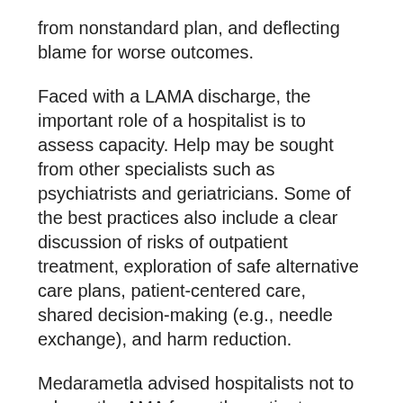from nonstandard plan, and deflecting blame for worse outcomes.
Faced with a LAMA discharge, the important role of a hospitalist is to assess capacity. Help may be sought from other specialists such as psychiatrists and geriatricians. Some of the best practices also include a clear discussion of risks of outpatient treatment, exploration of safe alternative care plans, patient-centered care, shared decision-making (e.g., needle exchange), and harm reduction.
Medarametla advised hospitalists not to rely on the AMA forms the patients are asked to sign for liability protection. The forms may not stand up to legal scrutiny. Excellent documentation regarding the details of discussions with the patient, and determination of capacity encompassing the patients' understanding, reasoning, and insight should be made. Hospitalists can